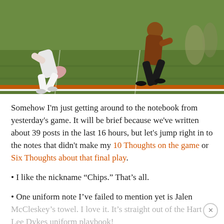[Figure (photo): Football players on a green field with orange end zone line visible. Two players in motion near the sideline.]
Somehow I'm just getting around to the notebook from yesterday's game. It will be brief because we've written about 39 posts in the last 16 hours, but let's jump right in to the notes that didn't make my 10 Thoughts on the game or Six Thoughts about that final play.
• I like the nickname “Chips.” That’s all.
• One uniform note I’ve failed to mention yet is Jalen McCleskey’s towel. I love it. It’s straight out of the Hart Lee Dykes uniform playbook!